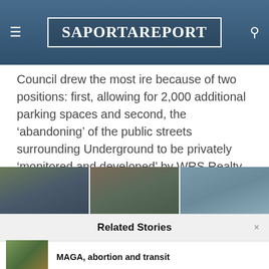SaportaReport
Council drew the most ire because of two positions: first, allowing for 2,000 additional parking spaces and second, the ‘abandoning’ of the public streets surrounding Underground to be privately ‘monitored and developed’ by WRS Realty.
[Figure (photo): Strip of three city panorama photos showing urban street scenes]
Related Stories
MAGA, abortion and transit
The suburbs are becoming more urban